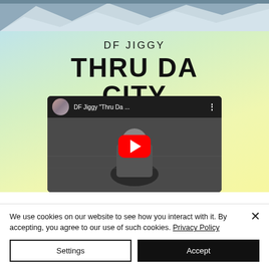[Figure (screenshot): Album art for DF Jiggy 'Thru Da City' showing a gradient background (blue to yellow-green) with mountain photo strip at top, artist name and song title text, and a YouTube video thumbnail embed showing the music video with a red play button]
We use cookies on our website to see how you interact with it. By accepting, you agree to our use of such cookies. Privacy Policy
Settings
Accept